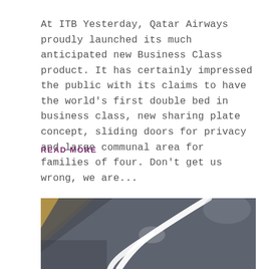At ITB Yesterday, Qatar Airways proudly launched its much anticipated new Business Class product. It has certainly impressed the public with its claims to have the world's first double bed in business class, new sharing plate concept, sliding doors for privacy and large communal area for families of four. Don't get us wrong, we are...
READ MORE
[Figure (photo): Interior photo of Qatar Airways business class cabin showing sleek curved white lighting elements against a dark grey background, with golden/bronze panel visible in upper left corner.]